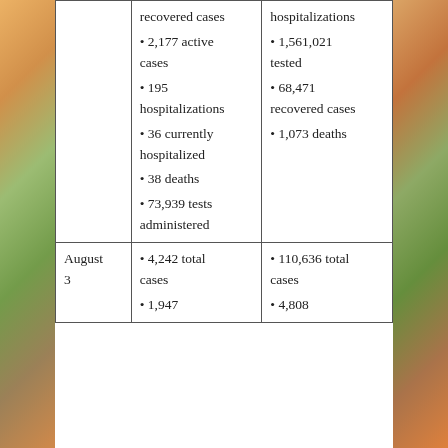| Date | Local Stats | State/Regional Stats |
| --- | --- | --- |
|  | recovered cases
• 2,177 active cases
• 195 hospitalizations
• 36 currently hospitalized
• 38 deaths
• 73,939 tests administered | hospitalizations
• 1,561,021 tested
• 68,471 recovered cases
• 1,073 deaths |
| August 3 | • 4,242 total cases
• 1,947 ... | • 110,636 total cases
• 4,808 ... |